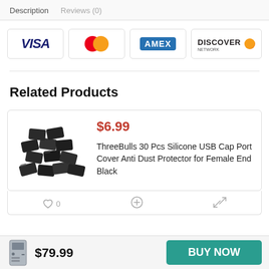Description   Reviews (0)
[Figure (illustration): Payment method icons: VISA, MasterCard, AMEX, Discover Network]
Related Products
[Figure (photo): Pile of black silicone USB cap port covers]
$6.99
ThreeBulls 30 Pcs Silicone USB Cap Port Cover Anti Dust Protector for Female End Black
$79.99
BUY NOW